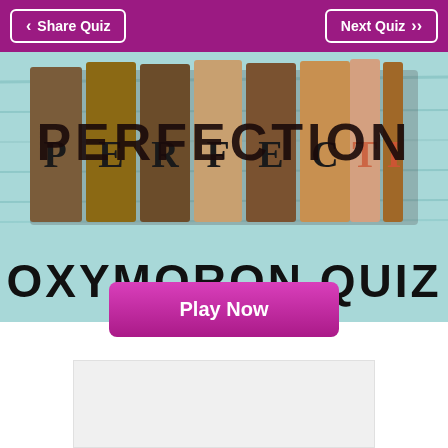Share Quiz | Next Quiz
[Figure (illustration): Wooden letterpress blocks spelling PERFECTION on a teal/light blue painted wood background, with OXYMORON QUIZ text overlaid in large black bold letters at the bottom of the image.]
Play Now